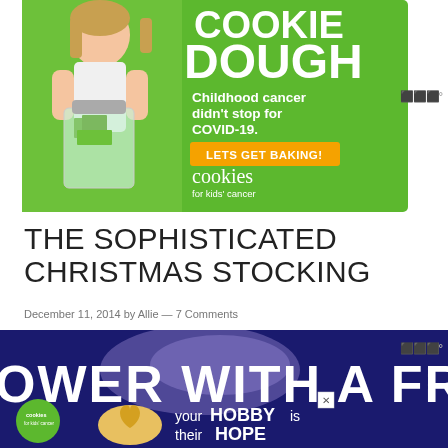[Figure (other): Advertisement for Cookies for Kids Cancer showing a young girl holding a jar of money on a green background. Text reads: COOKIE DOUGH, Childhood cancer didn't stop for COVID-19. LETS GET BAKING! cookies for kids' cancer]
THE SOPHISTICATED CHRISTMAS STOCKING
December 11, 2014 by Allie — 7 Comments
[Figure (other): Advertisement banner showing text 'OWER WITH A FRI' on dark blue background with sparkle effect, cookies for kids cancer logo badge, close X button, and text 'your HOBBY is their HOPE']